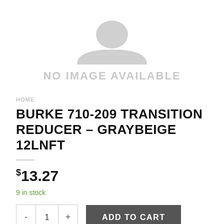[Figure (illustration): No image available placeholder with a grey silhouette icon and text 'NO IMAGE AVAILABLE']
HOME
BURKE 710-209 TRANSITION REDUCER – GRAYBEIGE 12LNFT
$13.27
9 in stock
ADD TO CART